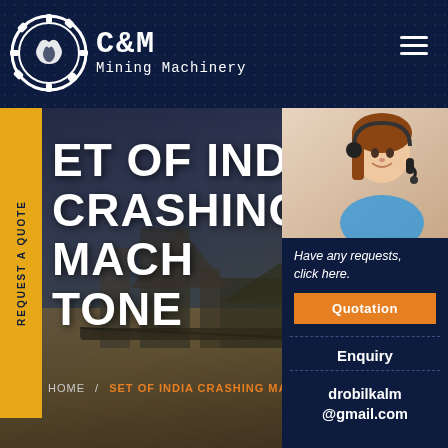[Figure (logo): C&M Mining Machinery logo with gear/claw icon circle and text]
ET OF INDIA CRASHING MACH TONE
[Figure (photo): Customer service representative wearing headset, smiling]
Have any requests, click here.
Quotation
Enquiry
drobilkalm@gmail.com
REQUEST A QUOTE
HOME / SET OF INDIA CRASHING MAC